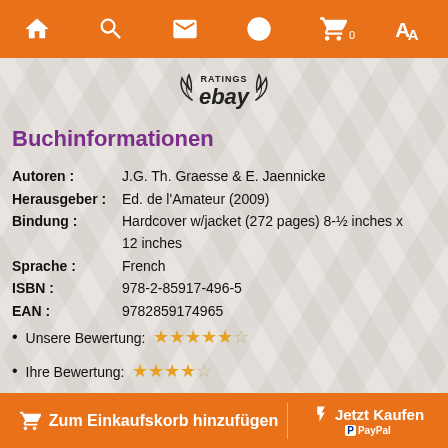Navigation bar with home, search, mail, info, cart (0), translate icons
[Figure (logo): eBay RATINGS laurel wreath logo]
Buchinformationen
Autoren : J.G. Th. Graesse & E. Jaennicke
Herausgeber :Ed. de l'Amateur (2009)
Bindung : Hardcover w/jacket (272 pages) 8-½ inches x 12 inches
Sprache : French
ISBN : 978-2-85917-496-5
EAN : 9782859174965
Unsere Bewertung: ★★★★★☆
Ihre Bewertung: ★★★★☆
Technische Bewertung: ★★★★☆
Beschreibung
Marks and signs of Porcelain, Faience and Pottery
Zum Einkaufskorb hinzufügen   Jetzt Kaufen P PayPal